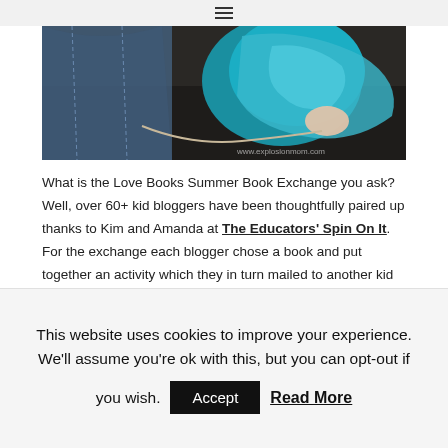≡
[Figure (photo): Top portion of a photo showing craft materials including blue fabric/yarn and other items on a dark surface, with a watermark 'www.explosionmom.com' in the lower right corner.]
What is the Love Books Summer Book Exchange you ask? Well, over 60+ kid bloggers have been thoughtfully paired up thanks to Kim and Amanda at The Educators' Spin On It. For the exchange each blogger chose a book and put together an activity which they in turn mailed to another kid blogger.
This website uses cookies to improve your experience. We'll assume you're ok with this, but you can opt-out if you wish. Accept Read More